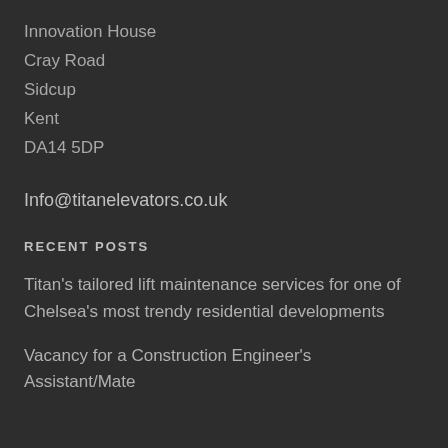Innovation House
Cray Road
Sidcup
Kent
DA14 5DP
Info@titanelevators.co.uk
RECENT POSTS
Titan's tailored lift maintenance services for one of Chelsea's most trendy residential developments
Vacancy for a Construction Engineer's Assistant/Mate